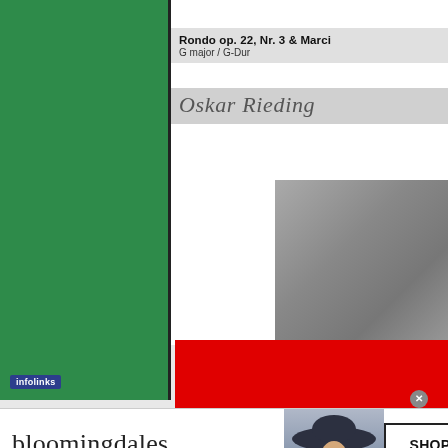[Figure (screenshot): Green left panel background]
Rondo op. 22, Nr. 3 & Marci
G major / G-Dur
Oskar Rieding
[Figure (photo): Gray photograph/image on right side]
[Figure (other): Red banner overlay]
infolinks
[Figure (screenshot): Bloomingdales advertisement banner with model in hat. Text: bloomingdales, View Today's Top Deals!, SHOP NOW >]